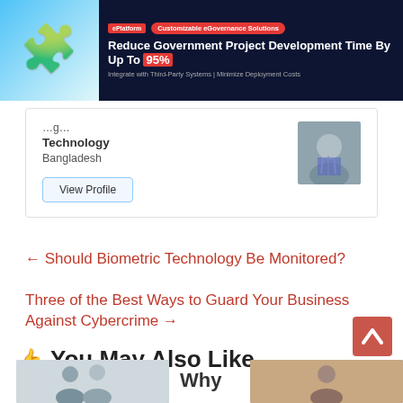[Figure (screenshot): Advertisement banner: eGovPlatform - Customizable eGovernance Solutions. Reduce Government Project Development Time By Up To 95%. Integrate with Third-Party Systems | Minimize Deployment Costs.]
Technology
Bangladesh
View Profile
← Should Biometric Technology Be Monitored?
Three of the Best Ways to Guard Your Business Against Cybercrime →
👍 You May Also Like
Why